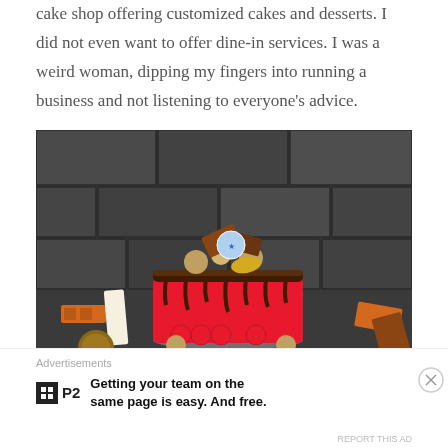cake shop offering customized cakes and desserts. I did not even want to offer dine-in services. I was a weird woman, dipping my fingers into running a business and not listening to everyone's advice.
[Figure (photo): A decorated red cake with chocolate drip effect, topped with chocolates, truffles and candy bars, displayed against a dark stone brick wall background. Various chocolate bars and cookies are scattered around the base.]
Advertisements
Getting your team on the same page is easy. And free.